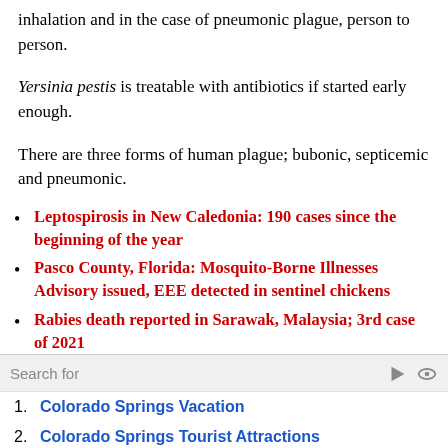inhalation and in the case of pneumonic plague, person to person.
Yersinia pestis is treatable with antibiotics if started early enough.
There are three forms of human plague; bubonic, septicemic and pneumonic.
Leptospirosis in New Caledonia: 190 cases since the beginning of the year
Pasco County, Florida: Mosquito-Borne Illnesses Advisory issued, EEE detected in sentinel chickens
Rabies death reported in Sarawak, Malaysia; 3rd case of 2021
Plague outbreak in Ituri province, DRC
Search for
1. Colorado Springs Vacation
2. Colorado Springs Tourist Attractions